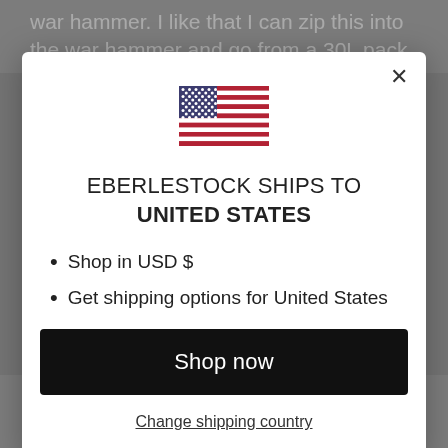war hammer. I like that I can zip this into the war hammer and go from a 30L pack
[Figure (illustration): Modal dialog overlay on a webpage showing Eberlestock shipping country selector for United States, with US flag, bullet points for USD and shipping options, a Shop now button, and a Change shipping country link.]
Shop in USD $
Get shipping options for United States
Shop now
Change shipping country
options. The MOD system makes so much sense. It can handed... Read more